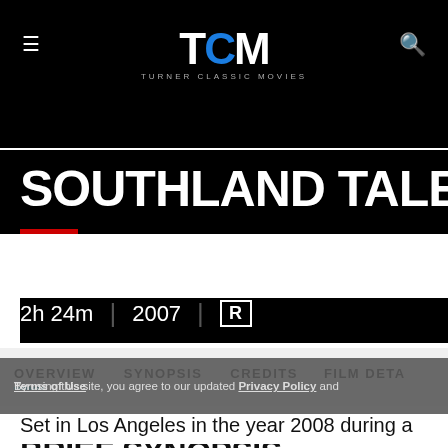TCM TURNER CLASSIC MOVIES
SOUTHLAND TALES
2h 24m | 2007 | R
OVERVIEW | SYNOPSIS | CREDITS | FILM DETAILS
BRIEF SYNOPSIS
READ MORE →
By using this site, you agree to our updated Privacy Policy and Terms of Use.
Set in Los Angeles in the year 2008 during a